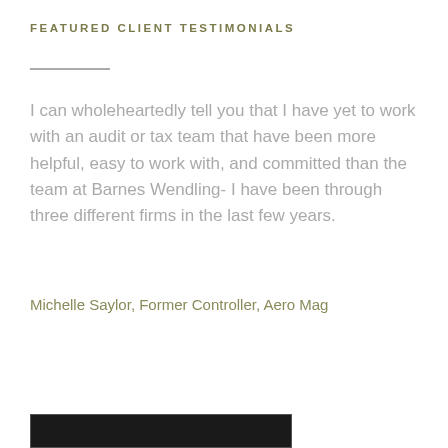FEATURED CLIENT TESTIMONIALS
I can wholeheartedly tell you that I have yet to work with an audit or tax team that have been more helpful, easy to work with, and committed than the team at Barnes Wendling- I have been through three different firms in the last few years.
Michelle Saylor, Former Controller, Aero Mag
[Figure (photo): Dark rectangular image or banner at the bottom of the page]